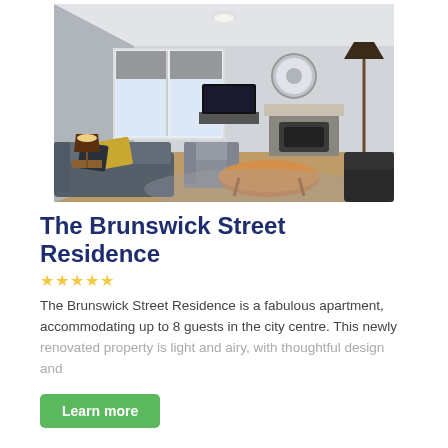[Figure (photo): Interior photo of a bright living room with large windows, gray sofa with yellow cushions, armchair, coffee table, fireplace with wood burner, and floor lamp.]
The Brunswick Street Residence
The Brunswick Street Residence is a fabulous apartment, accommodating up to 8 guests in the city centre. This newly renovated property is light and airy, with thoughtful design and
Learn more
1  2  3  NEXT »